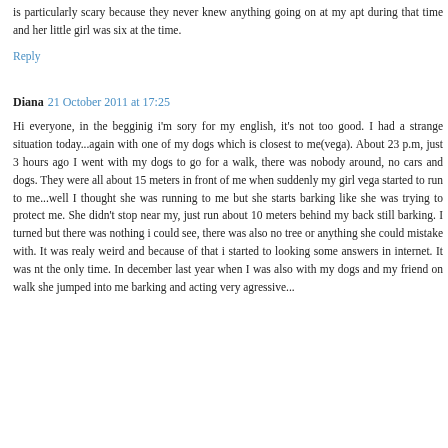is particularly scary because they never knew anything going on at my apt during that time and her little girl was six at the time.
Reply
Diana  21 October 2011 at 17:25
Hi everyone, in the begginig i'm sory for my english, it's not too good. I had a strange situation today...again with one of my dogs which is closest to me(vega). About 23 p.m, just 3 hours ago I went with my dogs to go for a walk, there was nobody around, no cars and dogs. They were all about 15 meters in front of me when suddenly my girl vega started to run to me...well I thought she was running to me but she starts barking like she was trying to protect me. She didn't stop near my, just run about 10 meters behind my back still barking. I turned but there was nothing i could see, there was also no tree or anything she could mistake with. It was realy weird and because of that i started to looking some answers in internet. It was nt the only time. In december last year when I was also with my dogs and my friend on walk she jumped into me barking and acting very agressive...